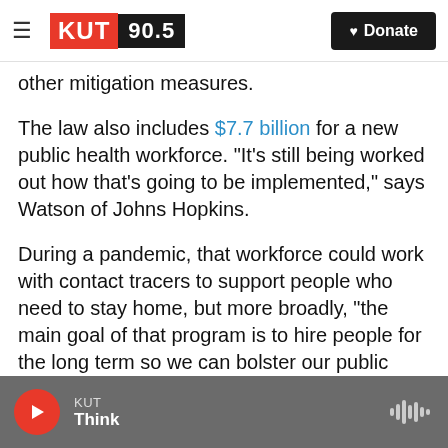KUT 90.5 | Donate
other mitigation measures.
The law also includes $7.7 billion for a new public health workforce. "It's still being worked out how that's going to be implemented," says Watson of Johns Hopkins.
During a pandemic, that workforce could work with contact tracers to support people who need to stay home, but more broadly, "the main goal of that program is to hire people for the long term so we can bolster our public health infrastructure," she explains.
KUT Think